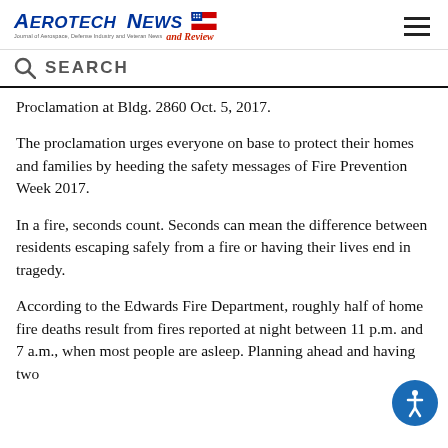Aerotech News and Review
SEARCH
Proclamation at Bldg. 2860 Oct. 5, 2017.
The proclamation urges everyone on base to protect their homes and families by heeding the safety messages of Fire Prevention Week 2017.
In a fire, seconds count. Seconds can mean the difference between residents escaping safely from a fire or having their lives end in tragedy.
According to the Edwards Fire Department, roughly half of home fire deaths result from fires reported at night between 11 p.m. and 7 a.m., when most people are asleep. Planning ahead and having two